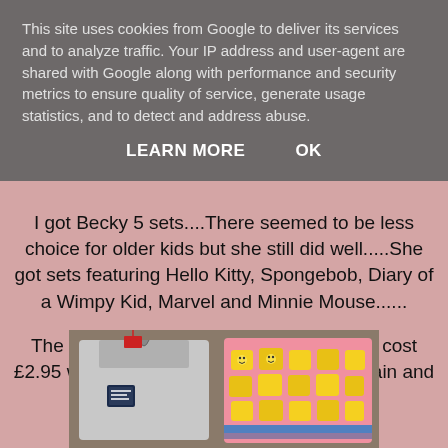This site uses cookies from Google to deliver its services and to analyze traffic. Your IP address and user-agent are shared with Google along with performance and security metrics to ensure quality of service, generate usage statistics, and to detect and address abuse.
LEARN MORE   OK
I got Becky 5 sets....There seemed to be less choice for older kids but she still did well.....She got sets featuring Hello Kitty, Spongebob, Diary of a Wimpy Kid, Marvel and Minnie Mouse......
The Spongebob and Minnie Mouse one's cost £2.95 which I think are still a fantastic bargain and the rest again cost £1.95....
[Figure (photo): Photo of children's pyjama sets, showing a grey Diary of a Wimpy Kid set and a colourful Spongebob patterned set]